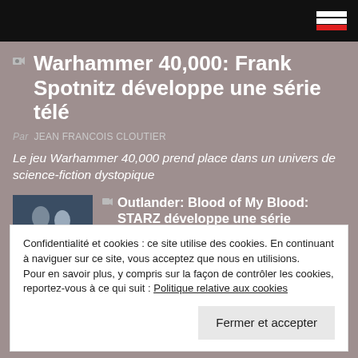Warhammer 40,000: Frank Spotnitz développe une série télé
Par JEAN FRANCOIS CLOUTIER
Le jeu Warhammer 40,000 prend place dans un univers de science-fiction dystopique
[Figure (photo): Thumbnail image for Outlander: Blood of My Blood article, showing two people against a dark blue background with 'OUTLANDER' text]
Outlander: Blood of My Blood: STARZ développe une série préquelle
Confidentialité et cookies : ce site utilise des cookies. En continuant à naviguer sur ce site, vous acceptez que nous en utilisions. Pour en savoir plus, y compris sur la façon de contrôler les cookies, reportez-vous à ce qui suit : Politique relative aux cookies
Fermer et accepter